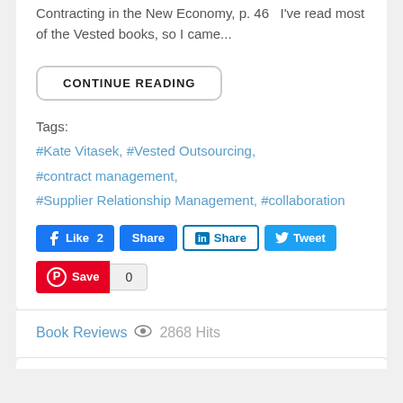Contracting in the New Economy, p. 46   I've read most of the Vested books, so I came...
CONTINUE READING
Tags:
#Kate Vitasek, #Vested Outsourcing, #contract management, #Supplier Relationship Management, #collaboration
[Figure (screenshot): Social sharing buttons: Facebook Like 2, Facebook Share, LinkedIn Share, Twitter Tweet, Pinterest Save with count 0]
Book Reviews  2868 Hits